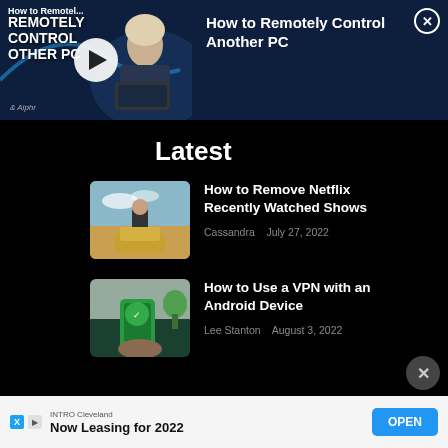[Figure (screenshot): Video player thumbnail showing 'How to Remotely Control Other PC' with a play button overlay, woman using laptop, Alphr branding]
How to Remotely Control Another PC
Latest
How to Remove Netflix Recently Watched Shows
Cassandra   July 27, 2022
How to Use a VPN with an Android Device
Lee Stanton   August 3, 2022
INTRO Cleveland
Now Leasing for 2022